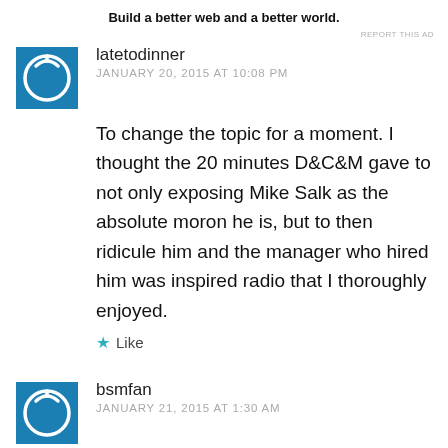Build a better web and a better world.
REPORT THIS AD
latetodinner
JANUARY 20, 2015 AT 10:08 PM
To change the topic for a moment. I thought the 20 minutes D&C&M gave to not only exposing Mike Salk as the absolute moron he is, but to then ridicule him and the manager who hired him was inspired radio that I thoroughly enjoyed.
Like
bsmfan
JANUARY 21, 2015 AT 1:30 AM